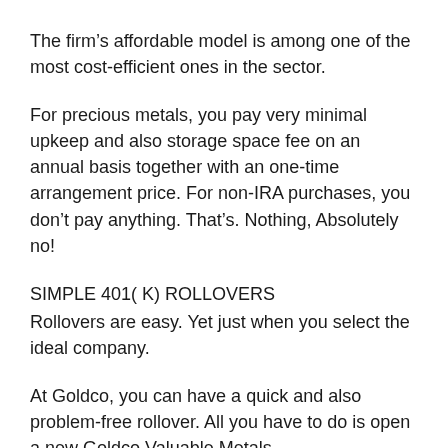The firm’s affordable model is among one of the most cost-efficient ones in the sector.
For precious metals, you pay very minimal upkeep and also storage space fee on an annual basis together with an one-time arrangement price. For non-IRA purchases, you don’t pay anything. That’s. Nothing, Absolutely no!
SIMPLE 401( K) ROLLOVERS
Rollovers are easy. Yet just when you select the ideal company.
At Goldco, you can have a quick and also problem-free rollover. All you have to do is open a new Goldco Valuable Metals